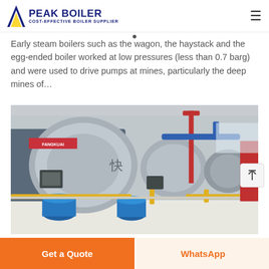PEAK BOILER - COST-EFFECTIVE BOILER SUPPLIER
Early steam boilers such as the wagon, the haystack and the egg-ended boiler worked at low pressures (less than 0.7 barg) and were used to drive pumps at mines, particularly the deep mines of…
[Figure (photo): Industrial boilers in a factory facility — large cylindrical horizontal fire-tube boilers labeled FANGKUAI, mounted on blue pedestals, with yellow and red piping, in a clean industrial warehouse setting.]
Get a Quote
WhatsApp